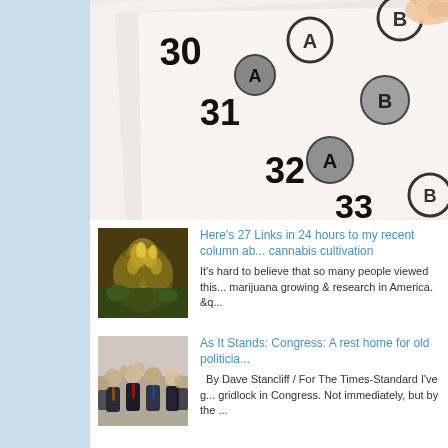[Figure (photo): Close-up photo of a standardized test answer sheet showing questions 30, 31, 32, 33 with circled bubble answers (A and B options visible), with a hand pointing at the top right corner.]
[Figure (photo): Thumbnail image of a cannabis/marijuana plant with yellow and green flowers/buds.]
Here’s 27 Links in 24 hours to my recent column ab... cannabis cultivation
It’s hard to believe that so many people viewed this... marijuana growing & research in America. &q...
[Figure (photo): Thumbnail image of a group of men in suits at what appears to be a political or governmental gathering.]
As It Stands: Congress: A rest home for old politicia...
By Dave Stancliff / For The Times-Standard I’ve g... gridlock in Congress. Not immediately, but by the ...